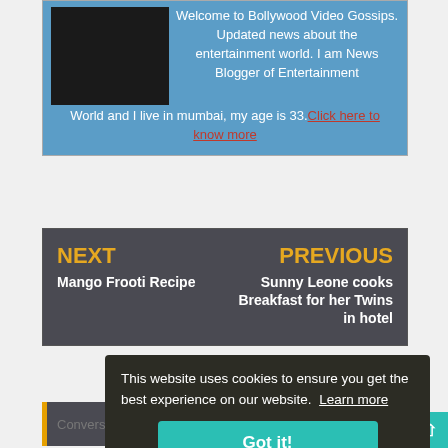Welcome to Bollywood Video Gossips. Updated news about the entertainment world. I am News Blogger of Entertainment World and I live in mumbai, my age is 33. Click here to know more
NEXT
Mango Frooti Recipe
PREVIOUS
Sunny Leone cooks Breakfast for her Twins in hotel
This website uses cookies to ensure you get the best experience on our website. Learn more
Got it!
Conversion
addition